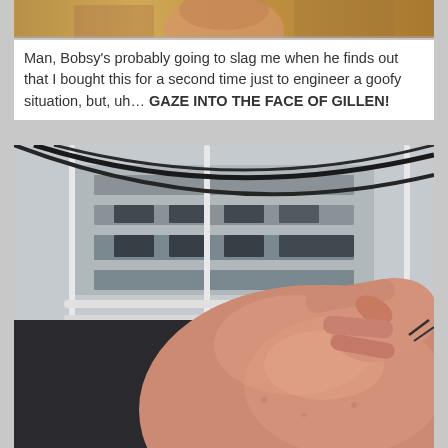[Figure (photo): Partial cropped image at top, showing what appears to be a person with warm golden/brown tones]
Man, Bobsy's probably going to slag me when he finds out that I bought this for a second time just to engineer a goofy situation, but, uh… GAZE INTO THE FACE OF GILLEN!
[Figure (photo): A close-up photo of a bald person's head (viewed from above/behind) with a hand pointing at it. In the background is a building with white metal railings/fence and windows.]